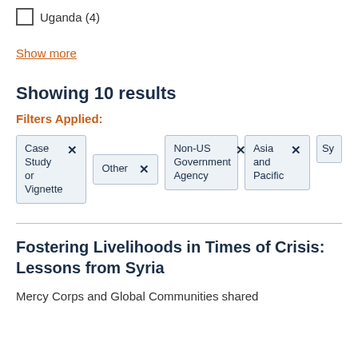Uganda (4)
Show more
Showing 10 results
Filters Applied:
Case Study or Vignette ×
Other ×
Non-US Government Agency ×
Asia and Pacific ×
Sy...
Fostering Livelihoods in Times of Crisis: Lessons from Syria
Mercy Corps and Global Communities shared